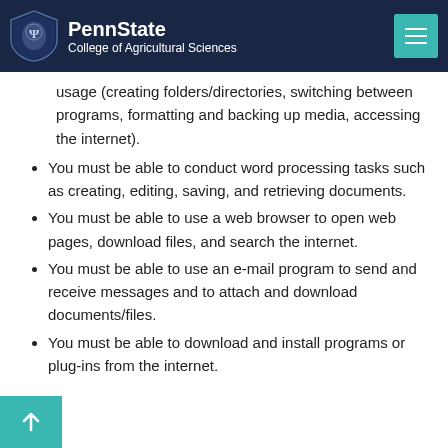PennState College of Agricultural Sciences
...possess an understanding of basic computer usage (creating folders/directories, switching between programs, formatting and backing up media, accessing the internet).
You must be able to conduct word processing tasks such as creating, editing, saving, and retrieving documents.
You must be able to use a web browser to open web pages, download files, and search the internet.
You must be able to use an e-mail program to send and receive messages and to attach and download documents/files.
You must be able to download and install programs or plug-ins from the internet.